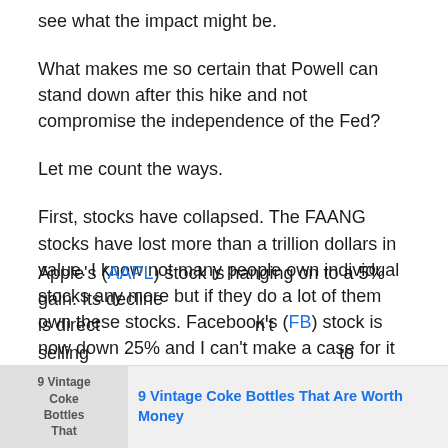see what the impact might be.
What makes me so certain that Powell can stand down after this hike and not compromise the independence of the Fed?
Let me count the ways.
First, stocks have collapsed. The FAANG stocks have lost more than a trillion dollars in value. I know not many people own individual stocks any more but if they do a lot of them own these stocks. Facebook's (FB) stock is now down 25% and I can't make a case for it given the company's lack of leadership and the sense of total disarray.
Apple's (AAPL) stock is hanging on to a 5% gain. Its decline is directly... n't selling to
[Figure (screenshot): Ad overlay at bottom of page showing '9 Vintage Coke Bottles That Are Worth Money' with thumbnail image and blue bold text link]